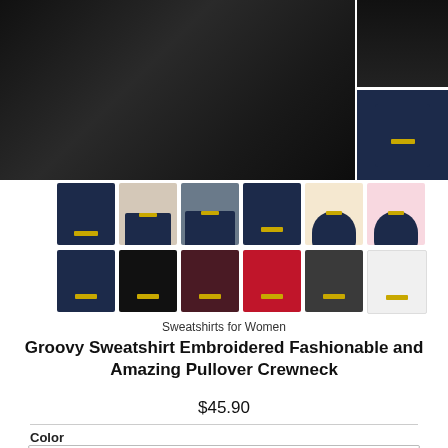[Figure (photo): Main large product photo: dark navy/black sweatshirt close-up on model, top portion visible]
[Figure (photo): Side thumbnail 1: close-up dark sweatshirt]
[Figure (photo): Side thumbnail 2: woman wearing navy sweatshirt with yellow embroidery]
[Figure (photo): Thumbnail grid row 1: 6 product images of navy sweatshirt from different angles and settings]
[Figure (photo): Thumbnail grid row 2: 6 product images showing color variants: navy, black, maroon, red, charcoal, white]
Sweatshirts for Women
Groovy Sweatshirt Embroidered Fashionable and Amazing Pullover Crewneck
$45.90
Color